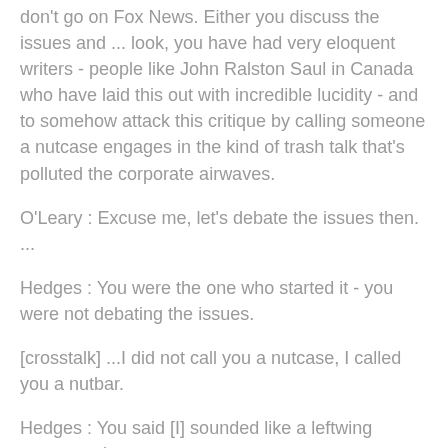don't go on Fox News. Either you discuss the issues and ... look, you have had very eloquent writers - people like John Ralston Saul in Canada who have laid this out with incredible lucidity - and to somehow attack this critique by calling someone a nutcase engages in the kind of trash talk that's polluted the corporate airwaves.
O'Leary : Excuse me, let's debate the issues then. ...
Hedges : You were the one who started it - you were not debating the issues.
[crosstalk] ...I did not call you a nutcase, I called you a nutbar.
Hedges : You said [I] sounded like a leftwing nutcase .. bar
O'Leary : Yes, bar, nutbar.
Hedges : That's an insult.